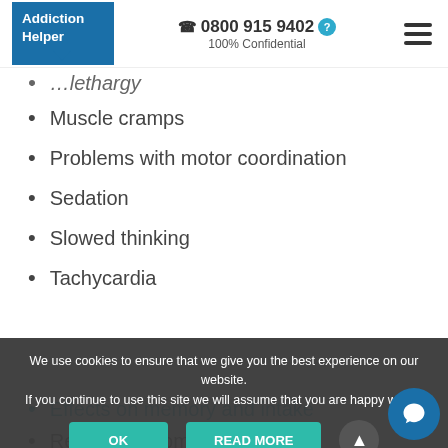Addiction Helper | ☎ 0800 915 9402 | 100% Confidential
…lethargy
Muscle cramps
Problems with motor coordination
Sedation
Slowed thinking
Tachycardia
Effects on memory and intake
Rebound insomnia
When used at a higher dose, Halcion will produce a euphoric high. However, unlike other benzodiazepines, that also have a depressive effect